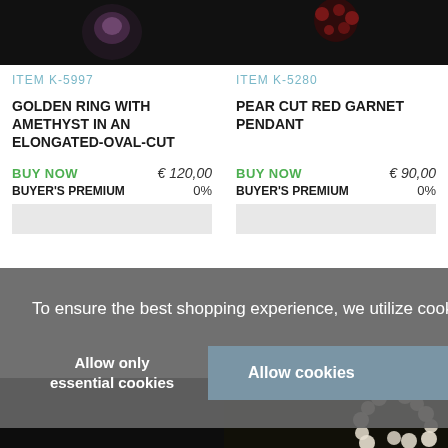[Figure (photo): Product image of golden ring with amethyst on black background]
[Figure (photo): Product image of pear cut red garnet pendant on black background with red gemstone clusters]
ITEM K-5997
ITEM K-5280
GOLDEN RING WITH AMETHYST IN AN ELONGATED-OVAL-CUT
PEAR CUT RED GARNET PENDANT
BUY NOW   € 120,00
BUYER'S PREMIUM   0%
BUY NOW   € 90,00
BUYER'S PREMIUM   0%
To ensure the best shopping experience, we utilize cookies more...
Allow only essential cookies
Allow cookies
[Figure (photo): Pearl necklace on dark background visible at bottom right]